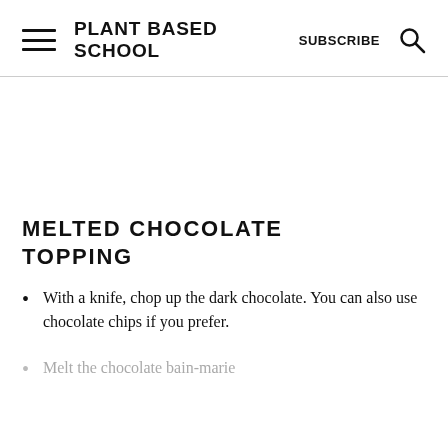PLANT BASED SCHOOL  SUBSCRIBE
MELTED CHOCOLATE TOPPING
With a knife, chop up the dark chocolate. You can also use chocolate chips if you prefer.
Melt the chocolate bain-marie